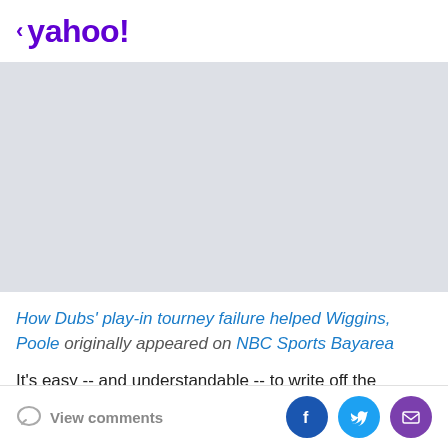< yahoo!
[Figure (other): Gray placeholder advertisement/image area]
How Dubs' play-in tourney failure helped Wiggins, Poole originally appeared on NBC Sports Bayarea
It's easy -- and understandable -- to write off the Warriors' last two seasons prior to their current playoff
View comments | Social share buttons: Facebook, Twitter, Email